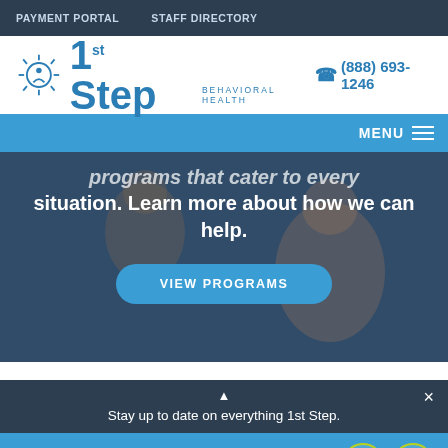PAYMENT PORTAL   STAFF DIRECTORY
[Figure (logo): 1st Step Behavioral Health logo with sun/person icon and phone number (888) 693-1246]
MENU
[Figure (photo): Hero image of two people in a counseling session with overlaid text: 'programs that cater to every situation. Learn more about how we can help.' and a 'VIEW PROGRAMS' button]
Stay up to date on everything 1st Step.
Speak with someone right now. We're ready to listen.